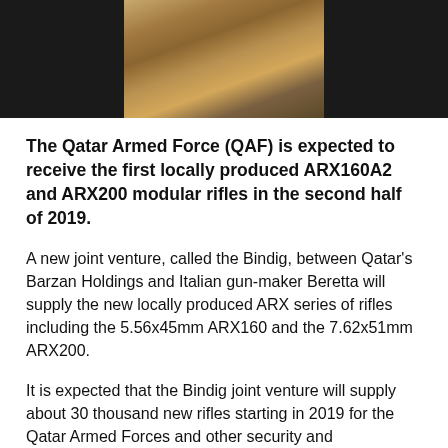[Figure (photo): Partial photo of a person in camouflage military uniform, cropped at top, against dark background]
The Qatar Armed Force (QAF) is expected to receive the first locally produced ARX160A2 and ARX200 modular rifles in the second half of 2019.
A new joint venture, called the Bindig, between Qatar's Barzan Holdings and Italian gun-maker Beretta will supply the new locally produced ARX series of rifles including the 5.56x45mm ARX160 and the 7.62x51mm ARX200.
It is expected that the Bindig joint venture will supply about 30 thousand new rifles starting in 2019 for the Qatar Armed Forces and other security and